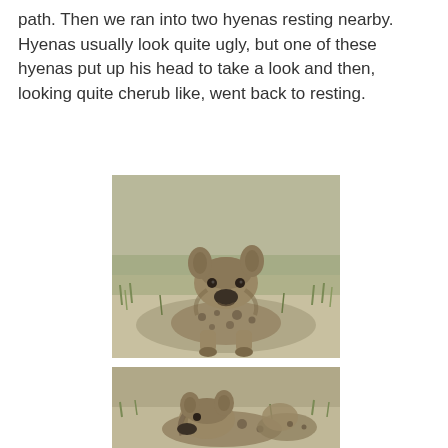path. Then we ran into two hyenas resting nearby. Hyenas usually look quite ugly, but one of these hyenas put up his head to take a look and then, looking quite cherub like, went back to resting.
[Figure (photo): A spotted hyena lying on sandy ground, looking forward with head raised, with sparse grass in the background.]
[Figure (photo): A hyena resting on sandy ground with head lowered, sparse grass visible in the background, partially cropped at bottom of page.]